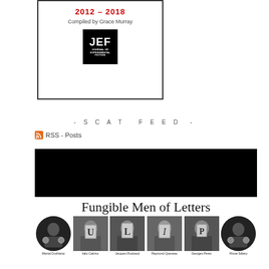[Figure (illustration): Book cover with title '2012 - 2018', subtitle 'Compiled by Grace Murray', and JEF (Journal of Experimental Fiction) logo in black square]
- SCAT FEED -
RSS - Posts
[Figure (photo): Fungible Men of Letters promotional image: black banner on top, large title 'Fungible Men of Letters', row of 6 black and white author photos (Marcel Duchamp, Italo Calvino, Jacques Roubaud, Raymond Queneau, Georges Perec, Rrose Sélavy) each holding letters U, L, I, P or similar, with names below]
Marcel Duchamp   Italo Calvino   Jacques Roubaud   Raymond Queneau   Georges Perec   Rrose Sélavy